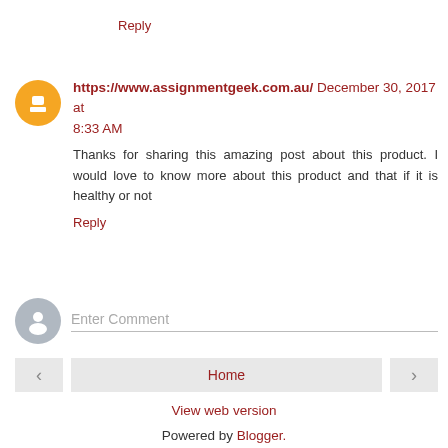Reply
https://www.assignmentgeek.com.au/  December 30, 2017 at 8:33 AM
Thanks for sharing this amazing post about this product. I would love to know more about this product and that if it is healthy or not
Reply
Enter Comment
Home
View web version
Powered by Blogger.